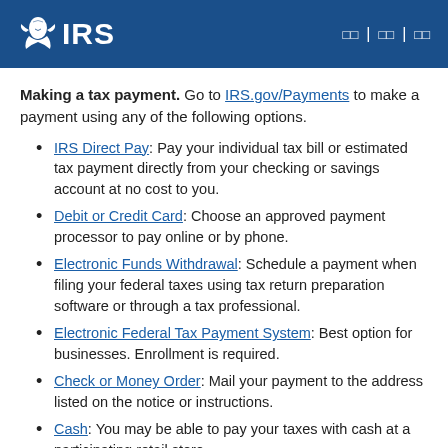IRS logo and navigation header
Making a tax payment. Go to IRS.gov/Payments to make a payment using any of the following options.
IRS Direct Pay: Pay your individual tax bill or estimated tax payment directly from your checking or savings account at no cost to you.
Debit or Credit Card: Choose an approved payment processor to pay online or by phone.
Electronic Funds Withdrawal: Schedule a payment when filing your federal taxes using tax return preparation software or through a tax professional.
Electronic Federal Tax Payment System: Best option for businesses. Enrollment is required.
Check or Money Order: Mail your payment to the address listed on the notice or instructions.
Cash: You may be able to pay your taxes with cash at a participating retail store.
Same-Day Wire: You may be able to do same-day wire from your financial institution. Contact...